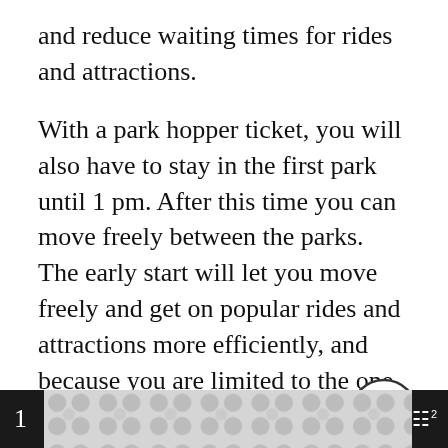and reduce waiting times for rides and attractions.
With a park hopper ticket, you will also have to stay in the first park until 1 pm. After this time you can move freely between the parks. The early start will let you move freely and get on popular rides and attractions more efficiently, and because you are limited to the one until 1 pm, it is better to be in the bigger park with more attractions.
1